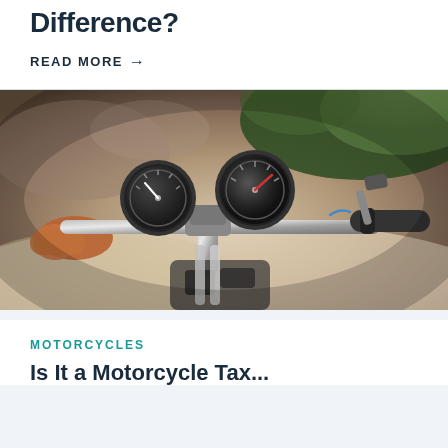Difference?
READ MORE →
[Figure (photo): Close-up photograph of motorcycle handlebars and two round gauges/instruments, rider's hand visible on the left grip, outdoor background with blurred rocky terrain and greenery]
MOTORCYCLES
Is It a Motorcycle Tax...